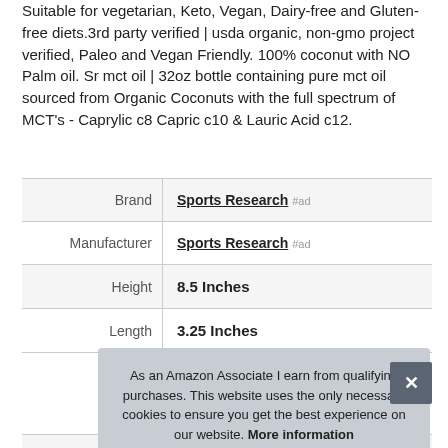Suitable for vegetarian, Keto, Vegan, Dairy-free and Gluten-free diets.3rd party verified | usda organic, non-gmo project verified, Paleo and Vegan Friendly. 100% coconut with NO Palm oil. Sr mct oil | 32oz bottle containing pure mct oil sourced from Organic Coconuts with the full spectrum of MCT's - Caprylic c8 Capric c10 & Lauric Acid c12.
|  |  |
| --- | --- |
| Brand | Sports Research #ad |
| Manufacturer | Sports Research #ad |
| Height | 8.5 Inches |
| Length | 3.25 Inches |
| P |  |
As an Amazon Associate I earn from qualifying purchases. This website uses the only necessary cookies to ensure you get the best experience on our website. More information